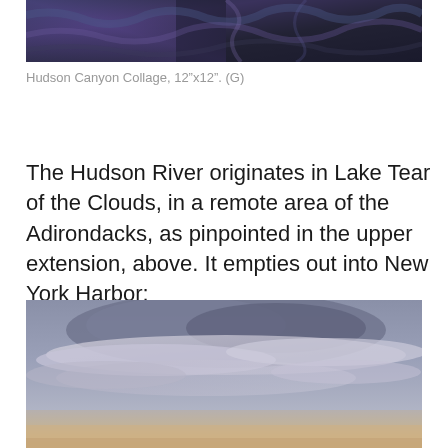[Figure (photo): Close-up abstract painting with dark blue, purple, and black tones resembling Hudson Canyon Collage artwork]
Hudson Canyon Collage, 12"x12". (G)
The Hudson River originates in Lake Tear of the Clouds, in a remote area of the Adirondacks, as pinpointed in the upper extension, above. It empties out into New York Harbor:
[Figure (photo): Photograph of a cloudy sky over water, with soft grey-blue clouds and a warm peachy horizon at the bottom, depicting New York Harbor area]